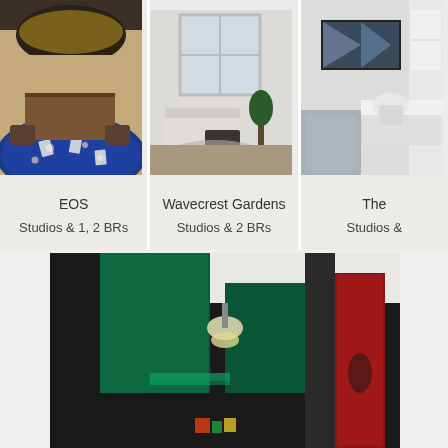[Figure (photo): Three property listing cards in a row. Left card shows a poker/game room with blue felt table and large pendant lamp (EOS). Middle card shows a bright modern living room with white sofa (Wavecrest Gardens). Right card shows a modern white kitchen/room (partially cropped, The ...).]
EOS
Studios & 1, 2 BRs
Wavecrest Gardens
Studios & 2 BRs
The
Studios &
[Figure (photo): Interior photo of a green-painted hallway or lobby with pendant light, red cylindrical element on the right, dark modern design.]